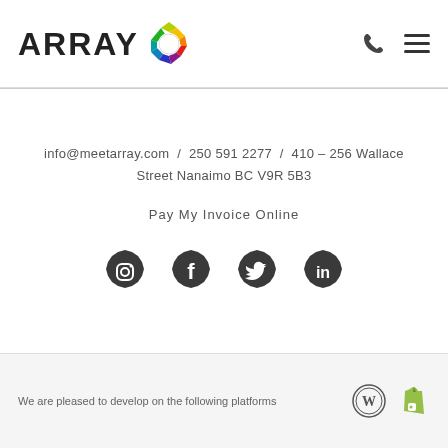[Figure (logo): ARRAY logo with colorful hexagonal icon]
info@meetarray.com  /  250 591 2277  /  410 – 256 Wallace Street Nanaimo BC V9R 5B3
Pay My Invoice Online
[Figure (illustration): Social media icons: Instagram, Facebook, Twitter, LinkedIn — dark rounded hexagonal buttons]
We are pleased to develop on the following platforms